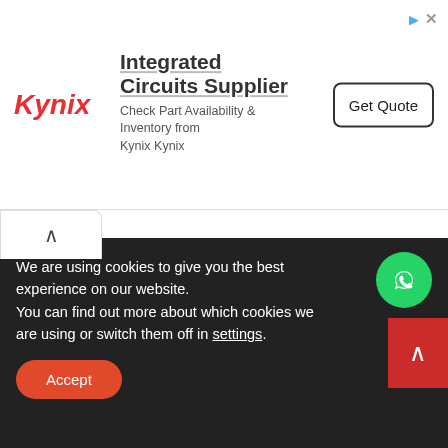[Figure (screenshot): Kynix Integrated Circuits Supplier advertisement banner with Kynix logo in red italic, headline 'Integrated Circuits Supplier', subtitle 'Check Part Availability & Inventory from Kynix Kynix', and a 'Get Quote' button. Small ad attribution icons top right.]
[Figure (screenshot): A collapsed tab/panel toggle button with an upward chevron arrow, white background, top portion of a yellow content area panel visible below.]
We are using cookies to give you the best experience on our website.
You can find out more about which cookies we are using or switch them off in settings.
Accept